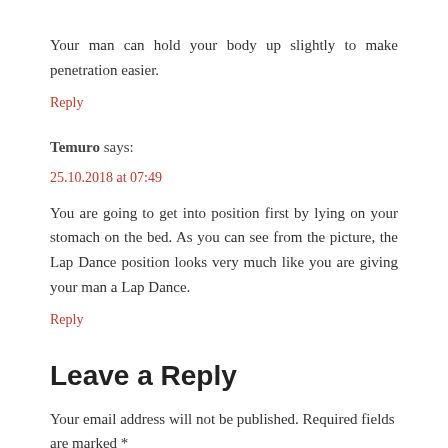Your man can hold your body up slightly to make penetration easier.
Reply
Temuro says:
25.10.2018 at 07:49
You are going to get into position first by lying on your stomach on the bed. As you can see from the picture, the Lap Dance position looks very much like you are giving your man a Lap Dance.
Reply
Leave a Reply
Your email address will not be published. Required fields are marked *